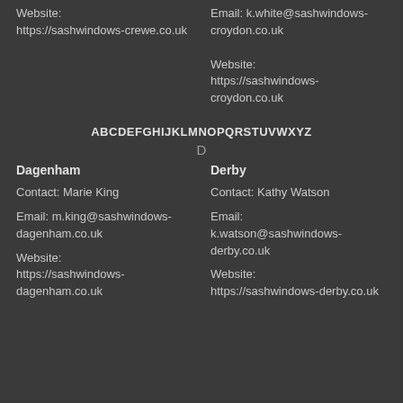Website:
https://sashwindows-crewe.co.uk
Email: k.white@sashwindows-croydon.co.uk

Website:
https://sashwindows-croydon.co.uk
ABCDEFGHIJKLMNOPQRSTUVWXYZ
D
Dagenham
Derby
Contact: Marie King
Contact: Kathy Watson
Email: m.king@sashwindows-dagenham.co.uk
Email:
k.watson@sashwindows-derby.co.uk
Website:
https://sashwindows-dagenham.co.uk
Website:
https://sashwindows-derby.co.uk